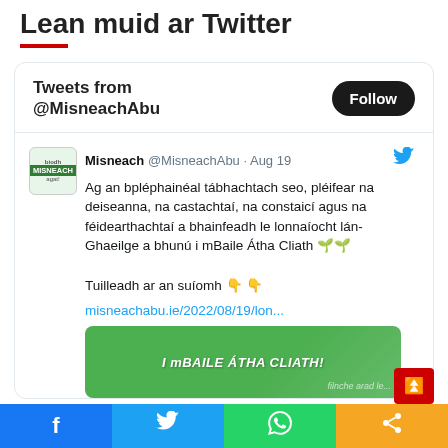Lean muid ar Twitter
[Figure (screenshot): Twitter widget showing tweets from @MisneachAbu with a Follow button, displaying a tweet from Misneach @MisneachAbu dated Aug 19 about a plépháinéal event regarding lán-Ghaeilge accommodation in Dublin, with a link to misneachabu.ie/2022/08/19/lon... and a green banner image]
Facebook | Twitter | WhatsApp | Share